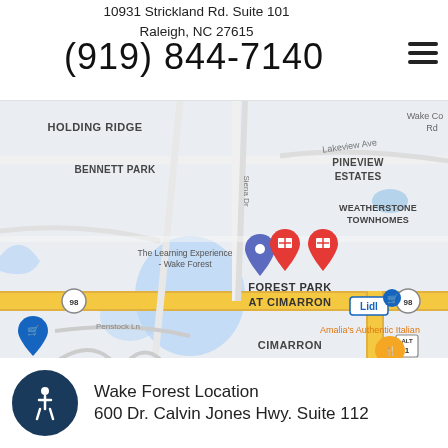10931 Strickland Rd. Suite 101
Raleigh, NC 27615
(919) 844-7140
[Figure (map): Google Maps screenshot showing the area around 10931 Strickland Rd, Raleigh NC. Visible neighborhoods include Bennett Park, Holding Ridge, Pineview Estates, Weatherstone Townhomes, Forest Park at Cimarron, and Cimarron. Map pins indicate The Learning Experience - Wake Forest location along a yellow-highlighted road (Route 98). Nearby landmarks include Lidl and Amalia's Authentic Italian restaurant. Penstock Ln visible in lower left.]
Wake Forest Location
600 Dr. Calvin Jones Hwy. Suite 112